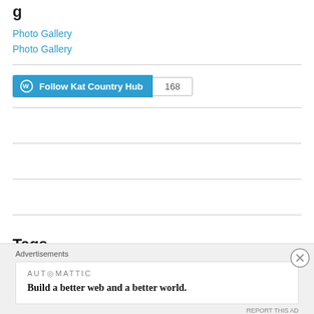g
Photo Gallery
Photo Gallery
[Figure (other): Follow Kat Country Hub WordPress button with follower count 168]
Tags
[Figure (infographic): Advertisement overlay: AUTOMATTIC logo with tagline 'Build a better web and a better world.']